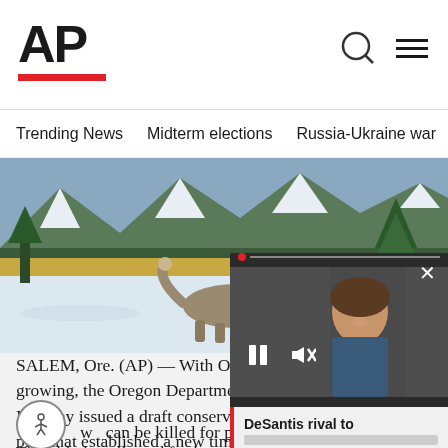AP
Trending News   Midterm elections   Russia-Ukraine war   Dona
[Figure (photo): A gray wolf walking in a snowy landscape with mountains and evergreen trees in the background]
SALEM, Ore. (AP) — With Oregon growing, the Oregon Department o Monday issued a draft conservation plan that established a new timeta w can be killed for preying on
The old plan allowed for hunts afte